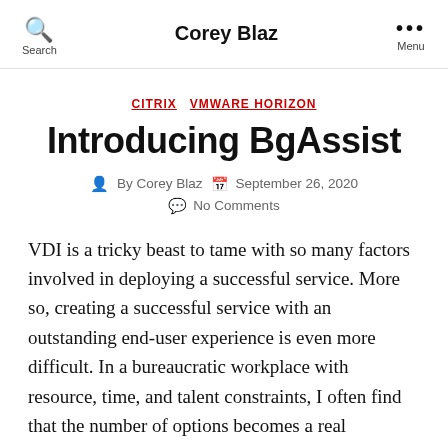Search  Corey Blaz  Menu
CITRIX  VMWARE HORIZON
Introducing BgAssist
By Corey Blaz  September 26, 2020  No Comments
VDI is a tricky beast to tame with so many factors involved in deploying a successful service. More so, creating a successful service with an outstanding end-user experience is even more difficult. In a bureaucratic workplace with resource, time, and talent constraints, I often find that the number of options becomes a real